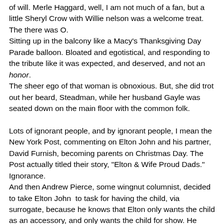of will. Merle Haggard, well, I am not much of a fan, but a little Sheryl Crow with Willie nelson was a welcome treat. The there was O.
Sitting up in the balcony like a Macy's Thanksgiving Day Parade balloon. Bloated and egotistical, and responding to the tribute like it was expected, and deserved, and not an honor.
The sheer ego of that woman is obnoxious. But, she did trot out her beard, Steadman, while her husband Gayle was seated down on the main floor with the common folk.
Lots of ignorant people, and by ignorant people, I mean the New York Post, commenting on Elton John and his partner, David Furnish, becoming parents on Christmas Day. The Post actually titled their story, "Elton & Wife Proud Dads." Ignorance.
And then Andrew Pierce, some wingnut columnist, decided to take Elton John  to task for having the child, via surrogate, because he knows that Elton only wants the child as an accessory, and only wants the child for show. He even went so far as to mock the child's name: Zachary Jackson Levon Furnish-John...